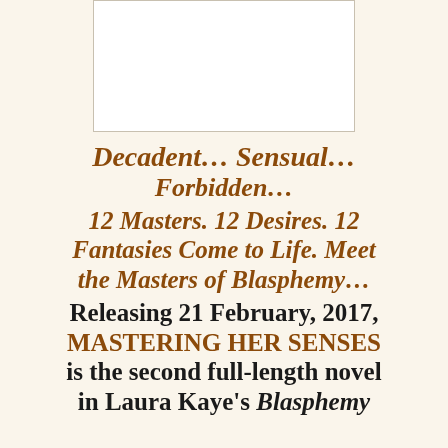[Figure (other): White rectangular image placeholder with light border at top center of page]
Decadent… Sensual… Forbidden… 12 Masters. 12 Desires. 12 Fantasies Come to Life. Meet the Masters of Blasphemy… Releasing 21 February, 2017, MASTERING HER SENSES is the second full-length novel in Laura Kaye's Blasphemy